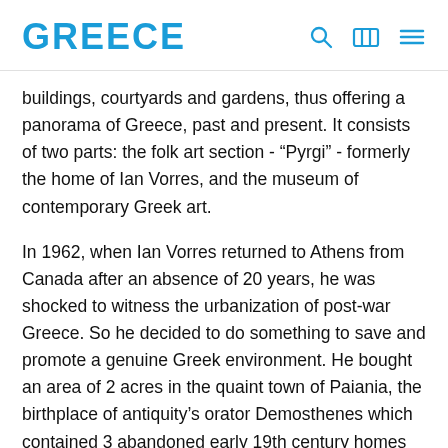GREECE
buildings, courtyards and gardens, thus offering a panorama of Greece, past and present. It consists of two parts: the folk art section - “Pyrgi” - formerly the home of Ian Vorres, and the museum of contemporary Greek art.
In 1962, when Ian Vorres returned to Athens from Canada after an absence of 20 years, he was shocked to witness the urbanization of post-war Greece. So he decided to do something to save and promote a genuine Greek environment. He bought an area of 2 acres in the quaint town of Paiania, the birthplace of antiquity’s orator Demosthenes which contained 3 abandoned early 19th century homes and folkloric elements. It was there, that he decided to make his